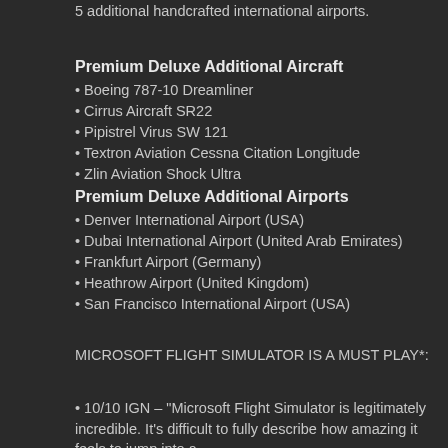5 additional handcrafted international airports.
Premium Deluxe Additional Aircraft
Boeing 787-10 Dreamliner
Cirrus Aircraft SR22
Pipistrel Virus SW 121
Textron Aviation Cessna Citation Longitude
Zlin Aviation Shock Ultra
Premium Deluxe Additional Airports
Denver International Airport (USA)
Dubai International Airport (United Arab Emirates)
Frankfurt Airport (Germany)
Heathrow Airport (United Kingdom)
San Francisco International Airport (USA)
MICROSOFT FLIGHT SIMULATOR IS A MUST PLAY*:
10/10 IGN – "Microsoft Flight Simulator is legitimately incredible. It's difficult to fully describe how amazing it feels to jump into a